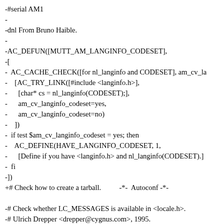-#serial AM1
-
-dnl From Bruno Haible.
-
-AC_DEFUN([MUTT_AM_LANGINFO_CODESET],
-[
-  AC_CACHE_CHECK([for nl_langinfo and CODESET], am_cv_la
-    [AC_TRY_LINK([#include <langinfo.h>],
-      [char* cs = nl_langinfo(CODESET);],
-      am_cv_langinfo_codeset=yes,
-      am_cv_langinfo_codeset=no)
-    ])
-  if test $am_cv_langinfo_codeset = yes; then
-    AC_DEFINE(HAVE_LANGINFO_CODESET, 1,
-      [Define if you have <langinfo.h> and nl_langinfo(CODESET).]
-  fi
-])
+# Check how to create a tarball.                    -*-  Autoconf -*-

-# Check whether LC_MESSAGES is available in <locale.h>.
-# Ulrich Drepper <drepper@cygnus.com>, 1995.
+# Copyright (C) 2004, 2005  Free Software Foundation, Inc.
 #
-
# This file can be copied and used freely without restrictions.  It can